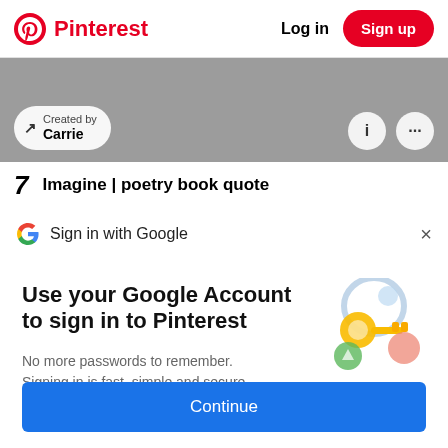Pinterest | Log in | Sign up
[Figure (screenshot): Pinterest card with 'Created by Carrie' label, info and more buttons, gray background image]
7  Imagine | poetry book quote
G  Sign in with Google  ×
Use your Google Account to sign in to Pinterest
No more passwords to remember. Signing in is fast, simple and secure.
[Figure (illustration): Google key illustration with colorful circles]
Continue